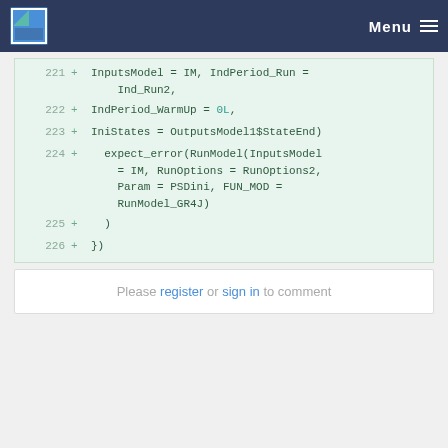Menu
221 + InputsModel = IM, IndPeriod_Run = Ind_Run2,
222 + IndPeriod_WarmUp = 0L,
223 + IniStates = OutputsModel1$StateEnd)
224 +   expect_error(RunModel(InputsModel = IM, RunOptions = RunOptions2, Param = PSDini, FUN_MOD = RunModel_GR4J)
225 + )
226 + })
Please register or sign in to comment